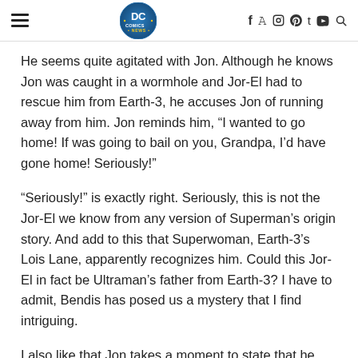DC Comics News
He seems quite agitated with Jon. Although he knows Jon was caught in a wormhole and Jor-El had to rescue him from Earth-3, he accuses Jon of running away from him. Jon reminds him, “I wanted to go home! If was going to bail on you, Grandpa, I’d have gone home! Seriously!”
“Seriously!” is exactly right. Seriously, this is not the Jor-El we know from any version of Superman’s origin story. And add to this that Superwoman, Earth-3’s Lois Lane, apparently recognizes him. Could this Jor-El in fact be Ultraman’s father from Earth-3? I have to admit, Bendis has posed us a mystery that I find intriguing.
I also like that Jon takes a moment to state that he wants to touch base with Damian, but realizes that it will have to wa...